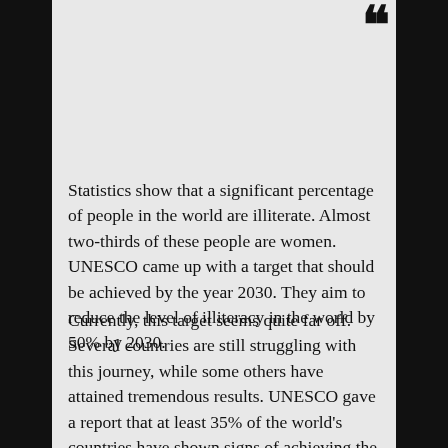Statistics show that a significant percentage of people in the world are illiterate. Almost two-thirds of these people are women. UNESCO came up with a target that should be achieved by the year 2030. They aim to reduce the level of illiteracy in the world by 50% by 2030.
Currently, this target seems quite far off. Several countries are still struggling with this journey, while some others have attained tremendous results. UNESCO gave a report that at least 35% of the world's countries have shown signs of achieving the targeted level of literacy by the year 2030. Here are some of the